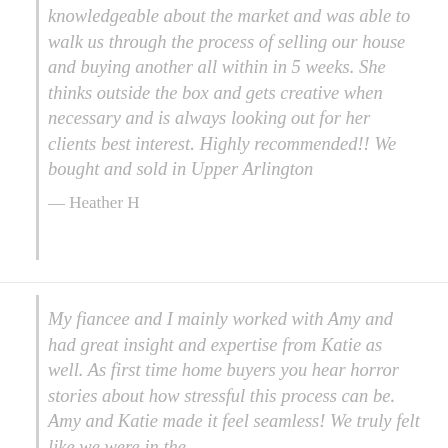knowledgeable about the market and was able to walk us through the process of selling our house and buying another all within in 5 weeks. She thinks outside the box and gets creative when necessary and is always looking out for her clients best interest. Highly recommended!! We bought and sold in Upper Arlington
— Heather H
My fiancee and I mainly worked with Amy and had great insight and expertise from Katie as well. As first time home buyers you hear horror stories about how stressful this process can be. Amy and Katie made it feel seamless! We truly felt like we were in the